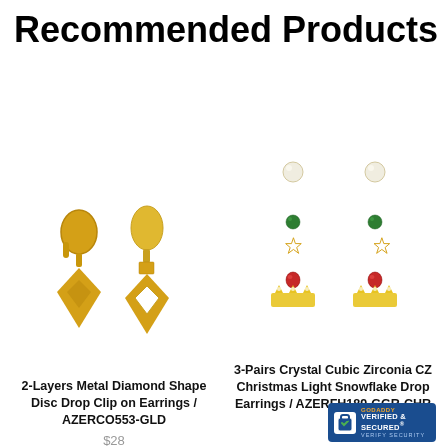Recommended Products
[Figure (photo): Gold 2-Layers Metal Diamond Shape Disc Drop Clip on Earrings, shown as a pair on white background]
2-Layers Metal Diamond Shape Disc Drop Clip on Earrings / AZERCO553-GLD
$28
[Figure (photo): 3-Pairs Crystal Cubic Zirconia CZ Christmas Light Snowflake Drop Earrings set on white background]
3-Pairs Crystal Cubic Zirconia CZ Christmas Light Snowflake Drop Earrings / AZERFH189-GGR-CHR
[Figure (logo): GoDaddy Verified & Secured badge]